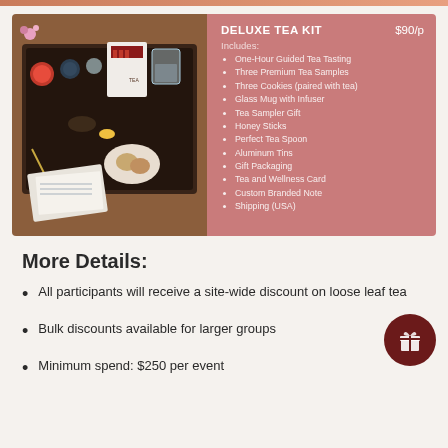[Figure (photo): Deluxe Tea Kit product image showing a decorative wooden tray with tea supplies including small containers, a glass mug, honey dipper, cookies on a plate, branded packaging and cards]
DELUXE TEA KIT   $90/p
Includes:
One-Hour Guided Tea Tasting
Three Premium Tea Samples
Three Cookies (paired with tea)
Glass Mug with Infuser
Tea Sampler Gift
Honey Sticks
Perfect Tea Spoon
Aluminum Tins
Gift Packaging
Tea and Wellness Card
Custom Branded Note
Shipping (USA)
More Details:
All participants will receive a site-wide discount on loose leaf tea
Bulk discounts available for larger groups
Minimum spend: $250 per event